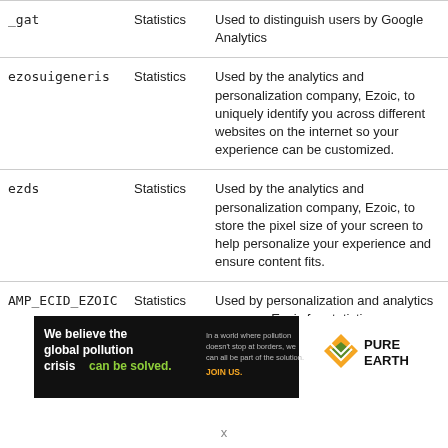| Name | Type | Description |
| --- | --- | --- |
| _gat | Statistics | Used to distinguish users by Google Analytics |
| ezosuigeneris | Statistics | Used by the analytics and personalization company, Ezoic, to uniquely identify you across different websites on the internet so your experience can be customized. |
| ezds | Statistics | Used by the analytics and personalization company, Ezoic, to store the pixel size of your screen to help personalize your experience and ensure content fits. |
| AMP_ECID_EZOIC | Statistics | Used by personalization and analytics company Ezoic for statistics on Accelerated Mobile Pages |
[Figure (infographic): Pure Earth advertisement banner: 'We believe the global pollution crisis can be solved. In a world where pollution doesn't stop at borders, we can all be part of the solution. JOIN US.' with Pure Earth diamond logo.]